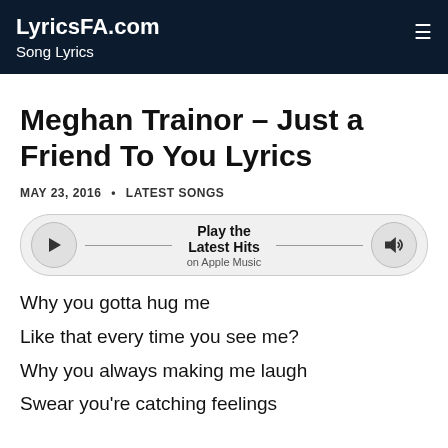LyricsFA.com
Song Lyrics
Meghan Trainor – Just a Friend To You Lyrics
MAY 23, 2016 · LATEST SONGS
[Figure (other): Music player widget with play button, 'Play the Latest Hits' text, 'on Apple Music' subtitle, and volume button]
Why you gotta hug me
Like that every time you see me?
Why you always making me laugh
Swear you're catching feelings